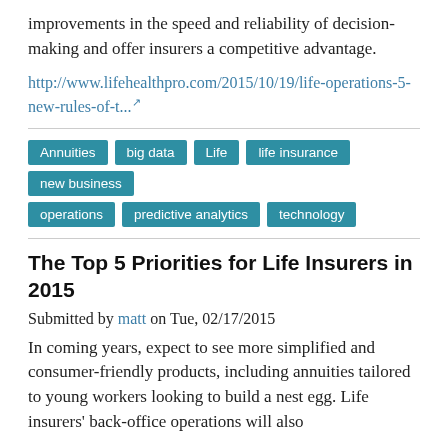improvements in the speed and reliability of decision-making and offer insurers a competitive advantage.
http://www.lifehealthpro.com/2015/10/19/life-operations-5-new-rules-of-t...
Annuities
big data
Life
life insurance
new business
operations
predictive analytics
technology
The Top 5 Priorities for Life Insurers in 2015
Submitted by matt on Tue, 02/17/2015
In coming years, expect to see more simplified and consumer-friendly products, including annuities tailored to young workers looking to build a nest egg. Life insurers' back-office operations will also